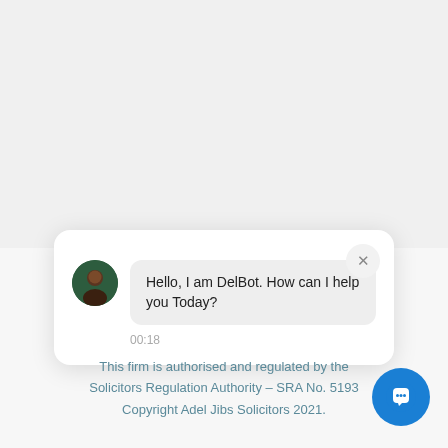[Figure (screenshot): A chat widget popup showing an avatar of a person with a speech bubble that says 'Hello, I am DelBot. How can I help you Today?' with a timestamp of 00:18 and a close (X) button in the top right corner.]
This firm is authorised and regulated by the Solicitors Regulation Authority – SRA No. 5193… Copyright Adel Jibs Solicitors 2021.